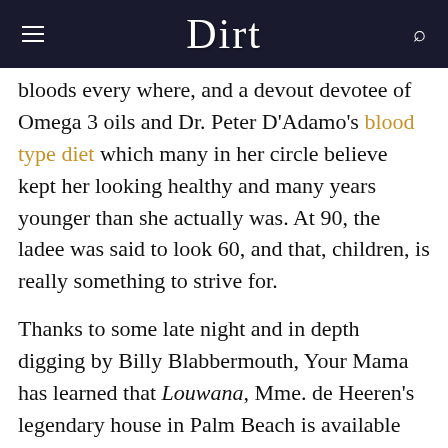Dirt
bloods every where, and a devout devotee of Omega 3 oils and Dr. Peter D'Adamo's blood type diet which many in her circle believe kept her looking healthy and many years younger than she actually was. At 90, the ladee was said to look 60, and that, children, is really something to strive for.
Thanks to some late night and in depth digging by Billy Blabbermouth, Your Mama has learned that Louwana, Mme. de Heeren's legendary house in Palm Beach is available for lease at $90,000 per month. Located on an ocean front parcel that happens to sit right next door to that vulgarity that Donald Trump has on the market for